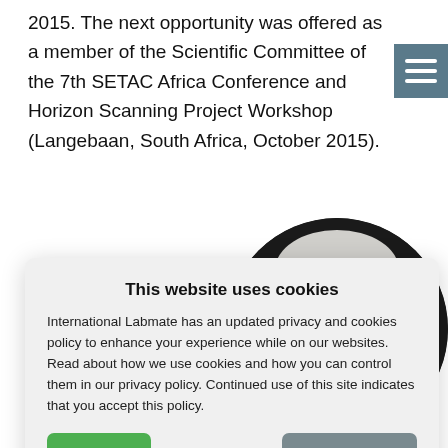2015. The next opportunity was offered as a member of the Scientific Committee of the 7th SETAC Africa Conference and Horizon Scanning Project Workshop (Langebaan, South Africa, October 2015).
[Figure (photo): Circular cropped photo of an older man with white/grey hair, wearing dark clothing, partially visible on the right side of the page.]
This website uses cookies
International Labmate has an updated privacy and cookies policy to enhance your experience while on our websites. Read about how we use cookies and how you can control them in our privacy policy. Continued use of this site indicates that you accept this policy.